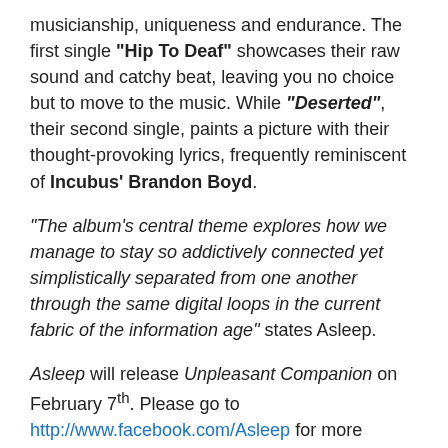musicianship, uniqueness and endurance. The first single "Hip To Deaf" showcases their raw sound and catchy beat, leaving you no choice but to move to the music. While "Deserted", their second single, paints a picture with their thought-provoking lyrics, frequently reminiscent of Incubus' Brandon Boyd.
"The album's central theme explores how we manage to stay so addictively connected yet simplistically separated from one another through the same digital loops in the current fabric of the information age" states Asleep.
Asleep will release Unpleasant Companion on February 7th. Please go to http://www.facebook.com/Asleep for more updates.